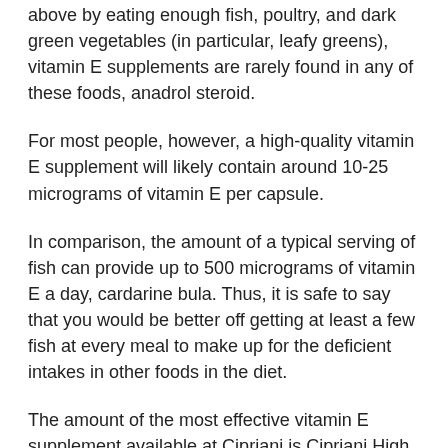above by eating enough fish, poultry, and dark green vegetables (in particular, leafy greens), vitamin E supplements are rarely found in any of these foods, anadrol steroid.
For most people, however, a high-quality vitamin E supplement will likely contain around 10-25 micrograms of vitamin E per capsule.
In comparison, the amount of a typical serving of fish can provide up to 500 micrograms of vitamin E a day, cardarine bula. Thus, it is safe to say that you would be better off getting at least a few fish at every meal to make up for the deficient intakes in other foods in the diet.
The amount of the most effective vitamin E supplement available at Cipriani is Cipriani High Tech 100+ Capsules ($22)